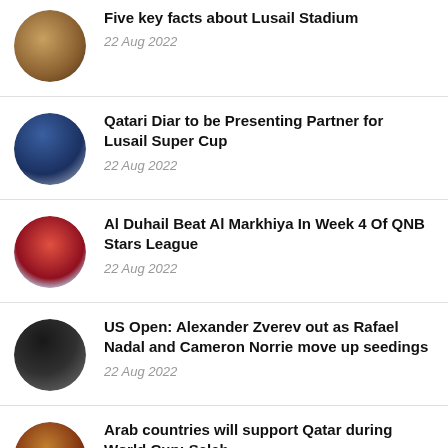Five key facts about Lusail Stadium
22 Aug 2022
Qatari Diar to be Presenting Partner for Lusail Super Cup
22 Aug 2022
Al Duhail Beat Al Markhiya In Week 4 Of QNB Stars League
22 Aug 2022
US Open: Alexander Zverev out as Rafael Nadal and Cameron Norrie move up seedings
22 Aug 2022
Arab countries will support Qatar during World Cup: Salah
22 Aug 2022